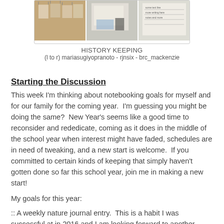[Figure (photo): Three-panel photo strip showing history keeping notebook pages and artwork displayed on a wall.]
HISTORY KEEPING
(l to r) mariasugiyopranoto - rjnsix - brc_mackenzie
Starting the Discussion
This week I'm thinking about notebooking goals for myself and for our family for the coming year.  I'm guessing you might be doing the same?  New Year's seems like a good time to reconsider and rededicate, coming as it does in the middle of the school year when interest might have faded, schedules are in need of tweaking, and a new start is welcome.  If you committed to certain kinds of keeping that simply haven't gotten done so far this school year, join me in making a new start!
My goals for this year:
:: A weekly nature journal entry.  This is a habit I was successful at in 2016 and I am looking forward to another